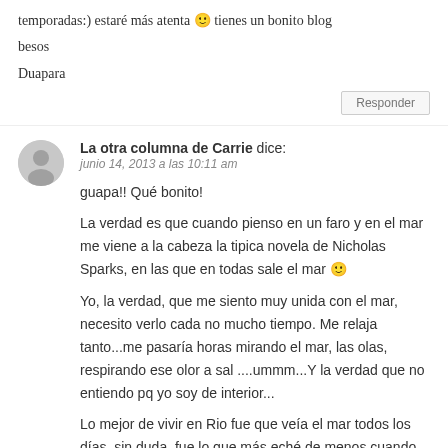temporadas:) estaré más atenta 🙂 tienes un bonito blog
besos
Duapara
Responder
La otra columna de Carrie dice:
junio 14, 2013 a las 10:11 am
guapa!! Qué bonito!
La verdad es que cuando pienso en un faro y en el mar me viene a la cabeza la tipica novela de Nicholas Sparks, en las que en todas sale el mar 🙂
Yo, la verdad, que me siento muy unida con el mar, necesito verlo cada no mucho tiempo. Me relaja tanto...me pasaría horas mirando el mar, las olas, respirando ese olor a sal ....ummm...Y la verdad que no entiendo pq yo soy de interior...

Lo mejor de vivir en Rio fue que veía el mar todos los días, sin duda, fue lo que más eché de menos cuando me volví..

Un besazo guapa y feliz fin de!